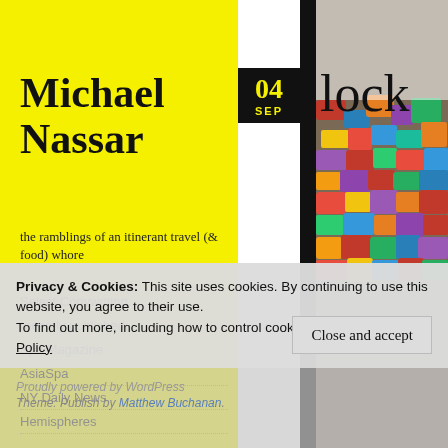Michael Nassar
the ramblings of an itinerant travel (& food) whore
Select Copywriting
recently published:
Spa Magazine
AsiaSpa
NY Daily News
Hemispheres
[Figure (photo): Date badge showing 04 SEP on black background with yellow text]
lock
[Figure (photo): Photo of colorful padlocks/locks mounted on a surface]
Privacy & Cookies: This site uses cookies. By continuing to use this website, you agree to their use.
To find out more, including how to control cookies, see here: Cookie Policy
Close and accept
Proudly powered by WordPress
Theme: Publish by Matthew Buchanan.